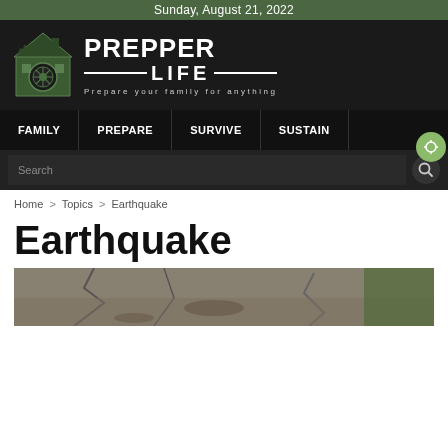Sunday, August 21, 2022
[Figure (logo): Prepper Life logo with house illustration and text 'PREPPER LIFE - Prepare your family for anything']
FAMILY  PREPARE  SURVIVE  SUSTAIN
Search
Home > Topics > Earthquake
Earthquake
[Figure (photo): Earthquake damage photo showing cracked ground/pavement]